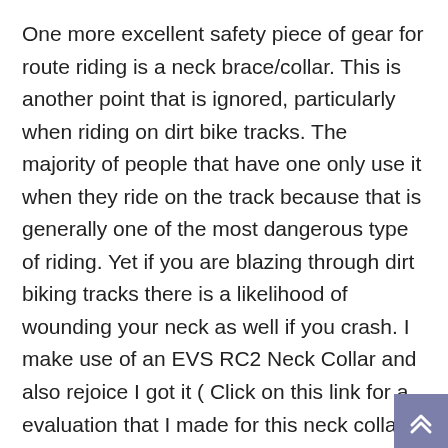One more excellent safety piece of gear for route riding is a neck brace/collar. This is another point that is ignored, particularly when riding on dirt bike tracks. The majority of people that have one only use it when they ride on the track because that is generally one of the most dangerous type of riding. Yet if you are blazing through dirt biking tracks there is a likelihood of wounding your neck as well if you crash. I make use of an EVS RC2 Neck Collar and also rejoice I got it ( Click on this link for a evaluation that I made for this neck collar). It can conserve a neck injury or collar bone if you drop as well as land on your head or if your bike strikes you. I always ride with it on and will certainly state that I never discover it. The only time it limits the head is when you turn and try to look backwards, otherwise it's wonderful protection with good